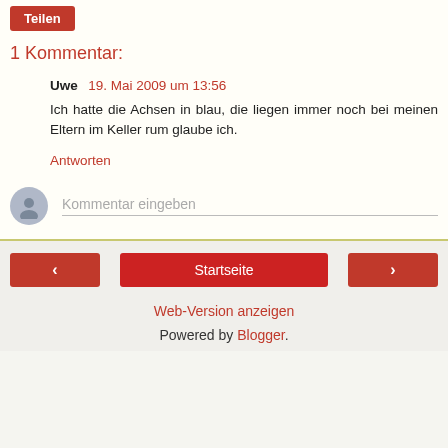Teilen
1 Kommentar:
Uwe  19. Mai 2009 um 13:56
Ich hatte die Achsen in blau, die liegen immer noch bei meinen Eltern im Keller rum glaube ich.
Antworten
Kommentar eingeben
‹
Startseite
›
Web-Version anzeigen
Powered by Blogger.